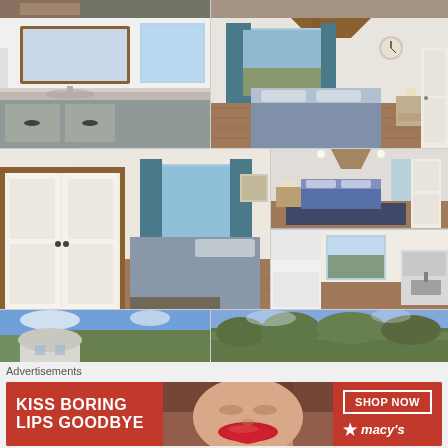[Figure (photo): Real estate photo collage showing interior rooms of a cabin/cottage property. Top strip shows partial bedroom/rug photo and bedroom with geometric headboard. Second row shows bathroom vanity with gray cabinets and marble countertop (left), and bedroom with blue curtains, wood beam ceiling, and blue bedspread (right). Third row shows bedroom with white double doors and window with blue curtains (left large), room overview with blue bedding and area rug (top right), and kitchen/utility narrow hallway view (bottom right). Bottom strip shows exterior of a curved-roof barn/outbuilding with trees and blue sky (left) and tree-lined landscape (right).]
Advertisements
[Figure (photo): Macy's advertisement banner with red background. Left side shows close-up of woman's face with bold red lips. Text reads 'KISS BORING LIPS GOODBYE' in white bold text. Right side has 'SHOP NOW' button outline and Macy's star logo.]